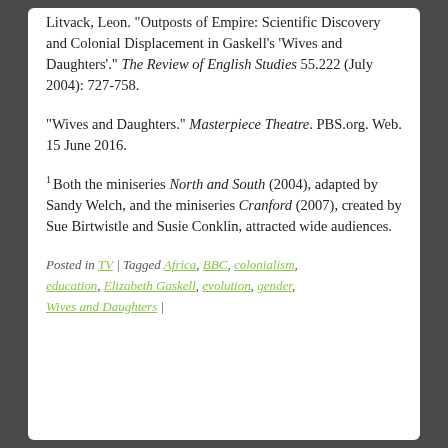Litvack, Leon. "Outposts of Empire: Scientific Discovery and Colonial Displacement in Gaskell's 'Wives and Daughters'." The Review of English Studies 55.222 (July 2004): 727-758.
"Wives and Daughters." Masterpiece Theatre. PBS.org. Web. 15 June 2016.
1. Both the miniseries North and South (2004), adapted by Sandy Welch, and the miniseries Cranford (2007), created by Sue Birtwistle and Susie Conklin, attracted wide audiences.
Posted in TV | Tagged Africa, BBC, colonialism, education, Elizabeth Gaskell, evolution, gender, Wives and Daughters |